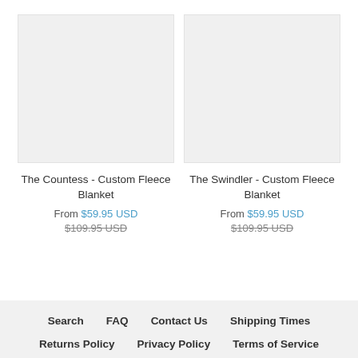[Figure (photo): Product image placeholder for The Countess - Custom Fleece Blanket (light gray rectangle)]
The Countess - Custom Fleece Blanket
From $59.95 USD
$109.95 USD
[Figure (photo): Product image placeholder for The Swindler - Custom Fleece Blanket (light gray rectangle)]
The Swindler - Custom Fleece Blanket
From $59.95 USD
$109.95 USD
Search   FAQ   Contact Us   Shipping Times   Returns Policy   Privacy Policy   Terms of Service